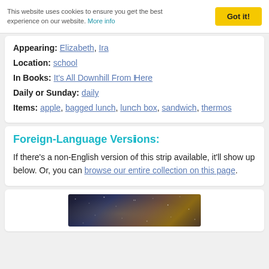This website uses cookies to ensure you get the best experience on our website. More info
Appearing: Elizabeth,Ira
Location: school
In Books: It's All Downhill From Here
Daily or Sunday: daily
Items: apple, bagged lunch, lunch box, sandwich, thermos
Foreign-Language Versions:
If there's a non-English version of this strip available, it'll show up below. Or, you can browse our entire collection on this page.
[Figure (photo): Dark nighttime scene with scattered light dots suggesting stars or distant lights]